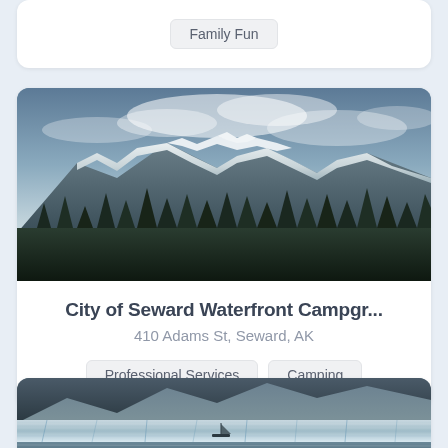Family Fun
[Figure (photo): Snow-capped mountain range with dark forest treeline, overcast sky with dramatic clouds]
City of Seward Waterfront Campgr...
410 Adams St, Seward, AK
Professional Services
Camping
[Figure (photo): Glacier and mountains with a small sailboat on water in the foreground]